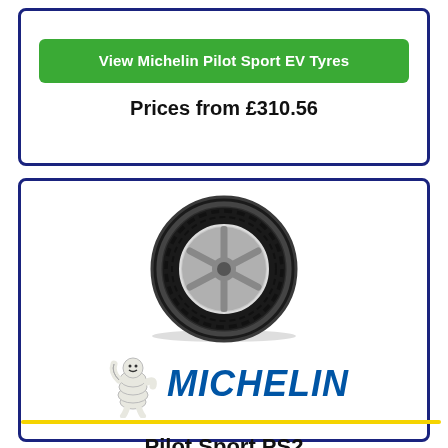View Michelin Pilot Sport EV Tyres
Prices from £310.56
[Figure (photo): Photo of a Michelin Pilot Sport PS2 tyre mounted on a wheel, viewed at an angle]
[Figure (logo): Michelin logo with Bibendum mascot figure and MICHELIN text in blue italic, with yellow underline]
Pilot Sport PS2